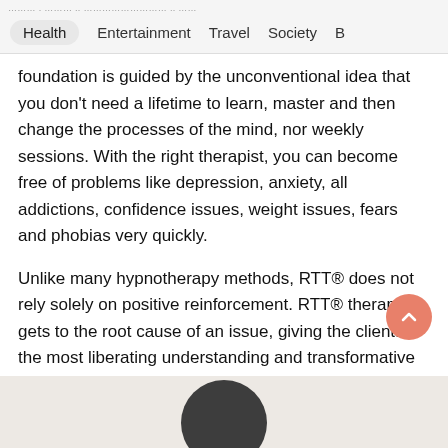Health   Entertainment   Travel   Society   B
foundation is guided by the unconventional idea that you don't need a lifetime to learn, master and then change the processes of the mind, nor weekly sessions. With the right therapist, you can become free of problems like depression, anxiety, all addictions, confidence issues, weight issues, fears and phobias very quickly.
Unlike many hypnotherapy methods, RTT® does not rely solely on positive reinforcement. RTT® therapy gets to the root cause of an issue, giving the clients the most liberating understanding and transformative power to achieve dramatic long-lasting results.
[Figure (photo): Bottom portion of page showing a photo strip with a person's head/silhouette in dark color against a light beige background]